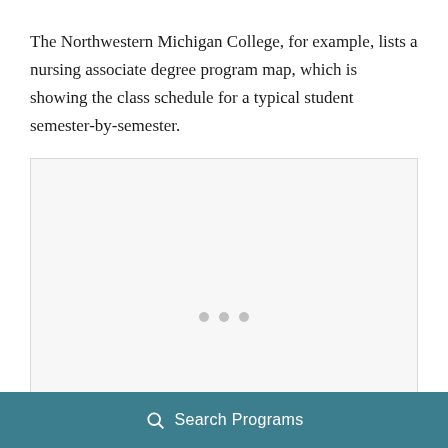The Northwestern Michigan College, for example, lists a nursing associate degree program map, which is showing the class schedule for a typical student semester-by-semester.
[Figure (other): A placeholder image box with a loading indicator (three dots), representing an embedded program map image that has not fully loaded.]
Search Programs